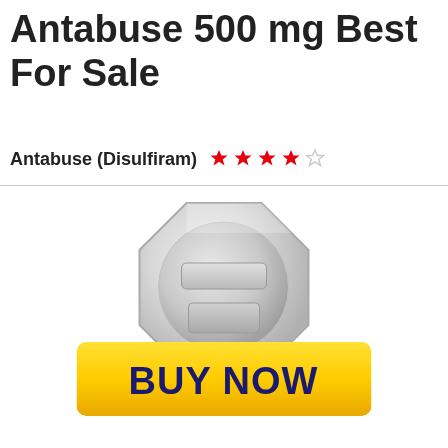Antabuse 500 mg Best For Sale
Antabuse (Disulfiram) ★★★★☆
[Figure (illustration): Silver octagonal pill/tablet with embossed letter A design]
[Figure (other): Yellow BUY NOW button]